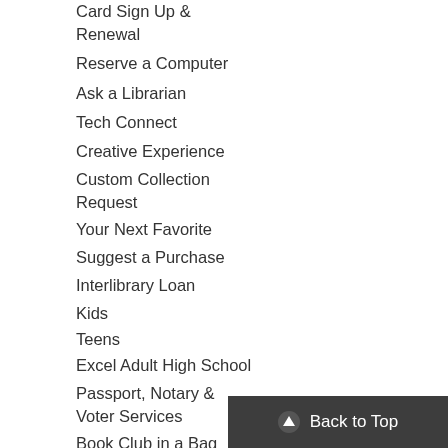Card Sign Up & Renewal
Reserve a Computer
Ask a Librarian
Tech Connect
Creative Experience
Custom Collection Request
Your Next Favorite
Suggest a Purchase
Interlibrary Loan
Kids
Teens
Excel Adult High School
Passport, Notary & Voter Services
Book Club in a Bag
Diverse & Inclusive Resources
Citizenship Connection
FAQs
Your Account
Digital Content